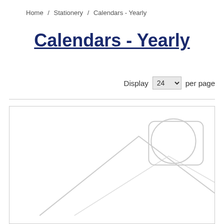Home / Stationery / Calendars - Yearly
Calendars - Yearly
Display 24 per page
[Figure (illustration): Placeholder image icon showing a mountain/landscape outline with a circular sun or moon, indicating a missing product image for a yearly calendar listing.]